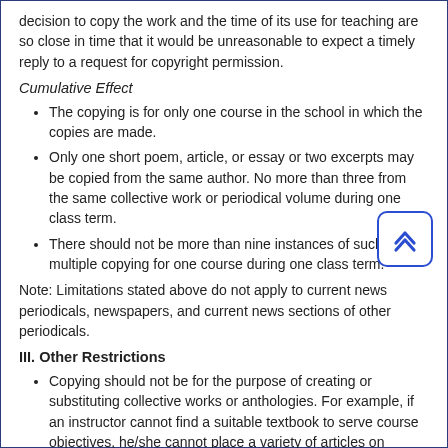decision to copy the work and the time of its use for teaching are so close in time that it would be unreasonable to expect a timely reply to a request for copyright permission.
Cumulative Effect
The copying is for only one course in the school in which the copies are made.
Only one short poem, article, or essay or two excerpts may be copied from the same author. No more than three from the same collective work or periodical volume during one class term.
There should not be more than nine instances of such multiple copying for one course during one class term.
Note: Limitations stated above do not apply to current news periodicals, newspapers, and current news sections of other periodicals.
III. Other Restrictions
Copying should not be for the purpose of creating or substituting collective works or anthologies. For example, if an instructor cannot find a suitable textbook to serve course objectives, he/she cannot place a variety of articles on Library Reserve unless permission is obtained for the articles. Such action constitutes the